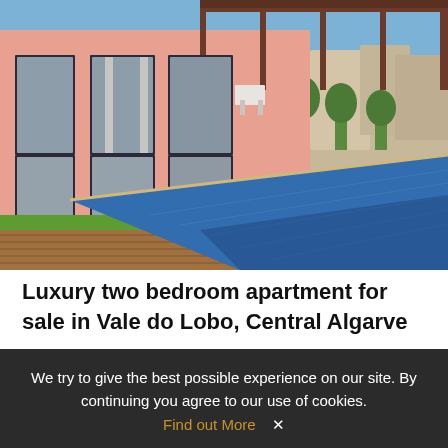[Figure (photo): Exterior view of a salmon/pink-colored luxury villa with large glass sliding doors, a wooden deck, and a blue tiled infinity swimming pool in the foreground. Background shows other houses and trees under a blue sky.]
Luxury two bedroom apartment for sale in Vale do Lobo, Central Algarve
Vale do lobo (Loulé) | EAV-2972   € 950.000
We try to give the best possible experience on our site. By continuing you agree to our use of cookies. Find out More ✕